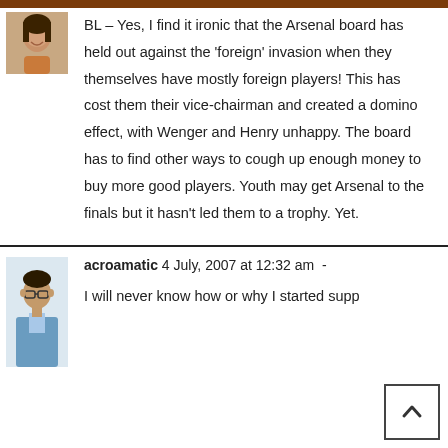[Figure (photo): Avatar photo of a smiling woman, cropped to show face and shoulders, brown/orange background strip at top]
BL – Yes, I find it ironic that the Arsenal board has held out against the 'foreign' invasion when they themselves have mostly foreign players! This has cost them their vice-chairman and created a domino effect, with Wenger and Henry unhappy. The board has to find other ways to cough up enough money to buy more good players. Youth may get Arsenal to the finals but it hasn't led them to a trophy. Yet.
[Figure (photo): Avatar photo of a man with glasses, wearing blue shirt, light background]
acroamatic 4 July, 2007 at 12:32 am  -
I will never know how or why I started supp